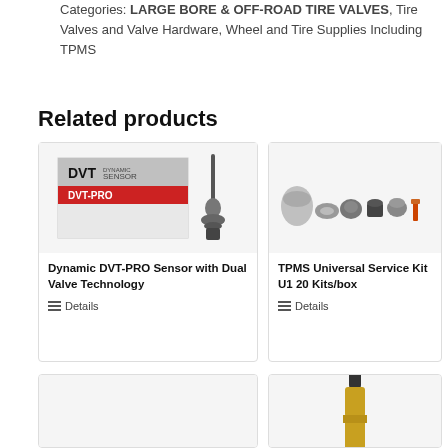Categories: LARGE BORE & OFF-ROAD TIRE VALVES, Tire Valves and Valve Hardware, Wheel and Tire Supplies Including TPMS
Related products
[Figure (photo): Dynamic DVT-PRO Sensor product box with sensor hardware]
Dynamic DVT-PRO Sensor with Dual Valve Technology
Details
[Figure (photo): TPMS Universal Service Kit U1 components laid out]
TPMS Universal Service Kit U1 20 Kits/box
Details
[Figure (photo): Product card bottom left - partially visible]
[Figure (photo): Gold/brass tire valve stem partially visible]